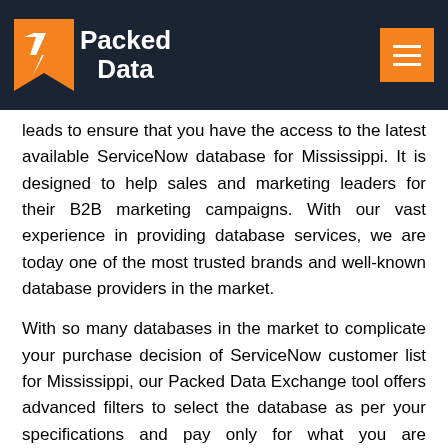Packed Data
leads to ensure that you have the access to the latest available ServiceNow database for Mississippi. It is designed to help sales and marketing leaders for their B2B marketing campaigns. With our vast experience in providing database services, we are today one of the most trusted brands and well-known database providers in the market.
With so many databases in the market to complicate your purchase decision of ServiceNow customer list for Mississippi, our Packed Data Exchange tool offers advanced filters to select the database as per your specifications and pay only for what you are interested in. Our tool also lets you see a sample of the database so that you can take informed decisions before the purchase.
Our Packed Data Exchange tool is dedicated to helping marketers connect with ServiceNow customer database in Mississippi by using our email lists, to promote their products